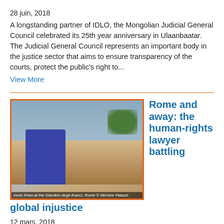28 juin, 2018
A longstanding partner of IDLO, the Mongolian Judicial General Council celebrated its 25th year anniversary in Ulaanbaatar. The Judicial General Council represents an important body in the justice sector that aims to ensure transparency of the courts, protect the public's right to...
View More
[Figure (photo): Photo of a woman in a purple jacket standing at an outdoor terrace in Rome, with city buildings and trees in the background. Caption reads: Irene Khan at the Giardino degli Aranci, Rome © Michele Palazzi]
Rome and away: the human-rights lawyer battling global injustice
12 mars, 2018
This article was originally posted in the Financial Times on March 9, 2018, visit the post and the full article. France has seen in the Italian...